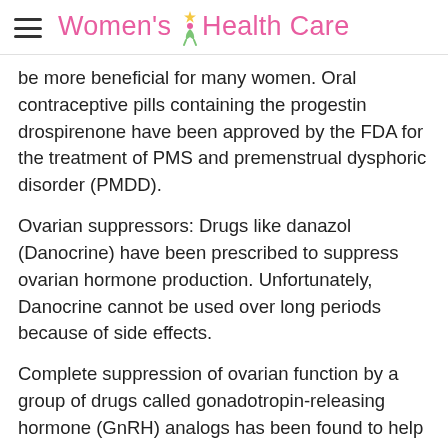Women's Health Care
be more beneficial for many women. Oral contraceptive pills containing the progestin drospirenone have been approved by the FDA for the treatment of PMS and premenstrual dysphoric disorder (PMDD).
Ovarian suppressors: Drugs like danazol (Danocrine) have been prescribed to suppress ovarian hormone production. Unfortunately, Danocrine cannot be used over long periods because of side effects.
Complete suppression of ovarian function by a group of drugs called gonadotropin-releasing hormone (GnRH) analogs has been found to help some women with PMS. These GnRH analogs are not given over the long term (more than six months) because of their adverse effect on bone density causing an increased risk of bone thinning (osteoporosis). In some cases